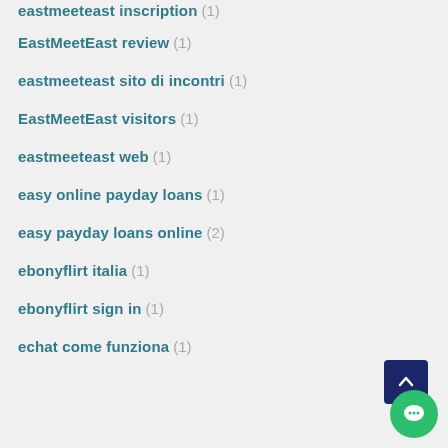eastmeeteast inscription (1)
EastMeetEast review (1)
eastmeeteast sito di incontri (1)
EastMeetEast visitors (1)
eastmeeteast web (1)
easy online payday loans (1)
easy payday loans online (2)
ebonyflirt italia (1)
ebonyflirt sign in (1)
echat come funziona (1)